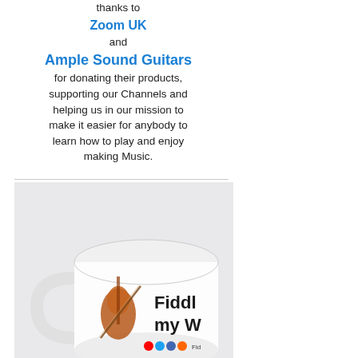thanks to
Zoom UK
and
Ample Sound Guitars
for donating their products, supporting our Channels and helping us in our mission to make it easier for anybody to learn how to play and enjoy making Music.
[Figure (photo): A white coffee mug with a violin/fiddle illustration and text 'Fiddl... my W...' along with social media icons at the bottom.]